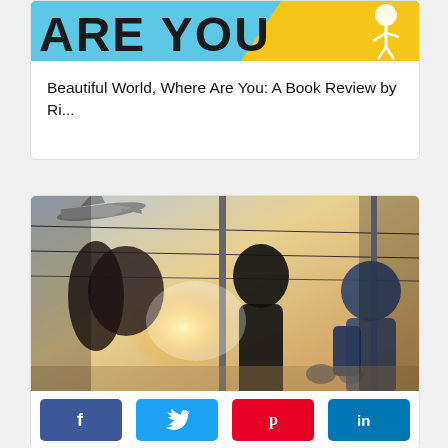[Figure (illustration): Book cover banner with blue background showing partial text 'ARE YOU' in bold black letters and a yellow diagonal section with an illustrated figure on the right]
Beautiful World, Where Are You: A Book Review by Ri...
[Figure (photo): Blurred motion photo of travelers/people walking through an airport terminal with large windows showing a sunset sky and overhead cables; a person with a blue backpack and helmet on the right]
[Figure (infographic): Social sharing buttons row: Facebook (blue, f icon), Twitter (blue, bird icon), Pinterest (red, p icon), LinkedIn (blue, in icon)]